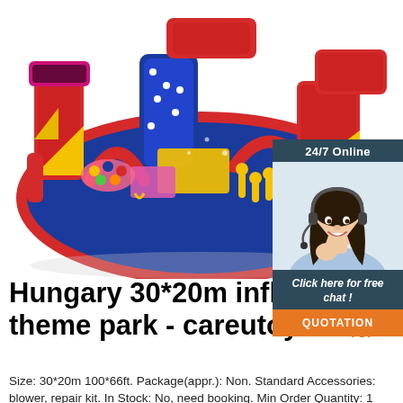[Figure (photo): Large colorful inflatable theme park/obstacle course in red, blue, and yellow colors with slides, climbing walls, and various inflatable play structures]
[Figure (photo): 24/7 online chat widget showing a woman with headset smiling, with 'Click here for free chat!' text and orange QUOTATION button]
Hungary 30*20m inflatable theme park - careutoys.com
Size: 30*20m 100*66ft. Package(appr.): Non. Standard Accessories: blower, repair kit. In Stock: No, need booking. Min Order Quantity: 1 Set. Notice: Inflatable theme park is